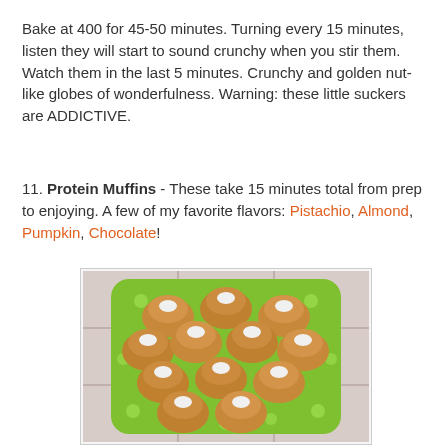Bake at 400 for 45-50 minutes. Turning every 15 minutes, listen they will start to sound crunchy when you stir them. Watch them in the last 5 minutes. Crunchy and golden nut-like globes of wonderfulness. Warning: these little suckers are ADDICTIVE.
11. Protein Muffins - These take 15 minutes total from prep to enjoying. A few of my favorite flavors: Pistachio, Almond, Pumpkin, Chocolate!
[Figure (photo): Photo of protein muffins arranged on a green polka-dot plate on a tiled surface. The muffins are golden-brown with white toppings on each.]